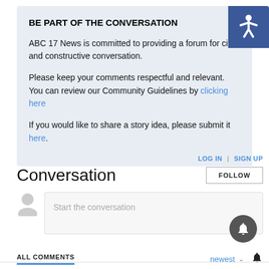BE PART OF THE CONVERSATION
ABC 17 News is committed to providing a forum for civil and constructive conversation.
Please keep your comments respectful and relevant. You can review our Community Guidelines by clicking here
If you would like to share a story idea, please submit it here.
[Figure (infographic): Blue accessibility icon button in top right corner]
LOG IN | SIGN UP
Conversation
FOLLOW
Start the conversation
ALL COMMENTS
newest